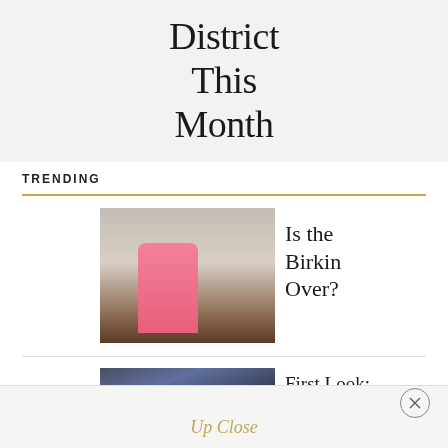District
This
Month
TRENDING
[Figure (photo): Woman in pink outfit sitting in front of ornate white fireplace mantel, holding a pink Birkin bag]
Is the Birkin Over?
[Figure (photo): Close-up of dark woven leather hobo bag with gold handle, person wearing jeans holding it with Bottega Veneta branding visible]
First Look: Matthieu Blazy's Debut Collection for Bottega Veneta
Up Close